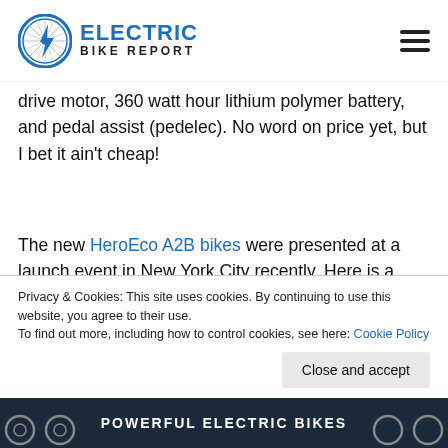Electric Bike Report
drive motor, 360 watt hour lithium polymer battery, and pedal assist (pedelec).  No word on price yet, but I bet it ain't cheap!
The new HeroEco A2B bikes were presented at a launch event in New York City recently.  Here is a report from an author of TechCrunch about his experience with the new A2B.  And here is some news about their recent
Privacy & Cookies: This site uses cookies. By continuing to use this website, you agree to their use.
To find out more, including how to control cookies, see here: Cookie Policy
Close and accept
POWERFUL ELECTRIC BIKES